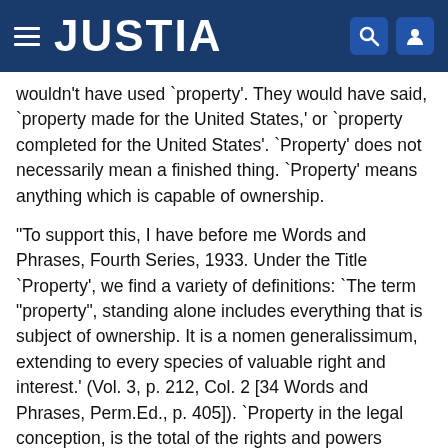JUSTIA
wouldn't have used `property'. They would have said, `property made for the United States,' or `property completed for the United States'. `Property' does not necessarily mean a finished thing. `Property' means anything which is capable of ownership.
"To support this, I have before me Words and Phrases, Fourth Series, 1933. Under the Title `Property', we find a variety of definitions: `The term "property", standing alone includes everything that is subject of ownership. It is a nomen generalissimum, extending to every species of valuable right and interest.' (Vol. 3, p. 212, Col. 2 [34 Words and Phrases, Perm.Ed., p. 405]). `Property in the legal conception, is the total of the rights and powers incident to a thing rather than the thing itself.' * * * `Property is anything that may be the subject of ownership.' * * * `Property is the sum of all the rights